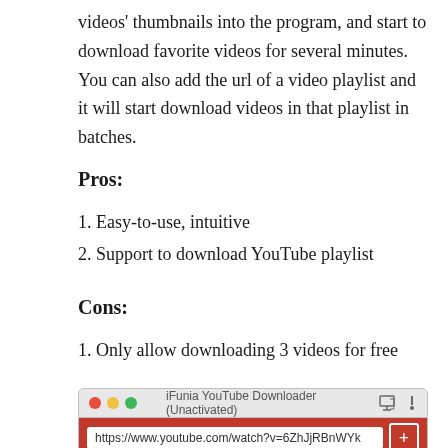videos' thumbnails into the program, and start to download favorite videos for several minutes. You can also add the url of a video playlist and it will start download videos in that playlist in batches.
Pros:
1. Easy-to-use, intuitive
2. Support to download YouTube playlist
Cons:
1. Only allow downloading 3 videos for free
[Figure (screenshot): Screenshot of iFunia YouTube Downloader (Unactivated) app window showing a macOS-style title bar with red/yellow/green traffic lights and an address bar containing 'https://www.youtube.com/watch?v=6ZhJjRBnWYk' with a red plus button.]